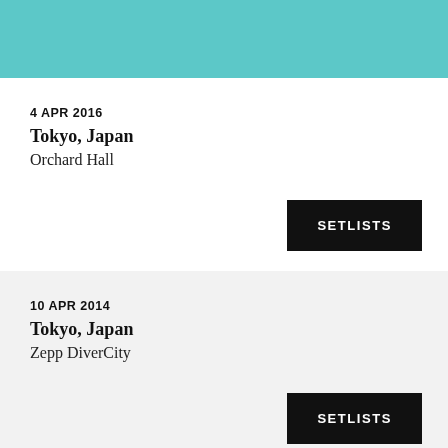[Figure (other): Teal/cyan decorative header bar]
4 APR 2016
Tokyo, Japan
Orchard Hall
SETLISTS
10 APR 2014
Tokyo, Japan
Zepp DiverCity
SETLISTS
9 APR 2014